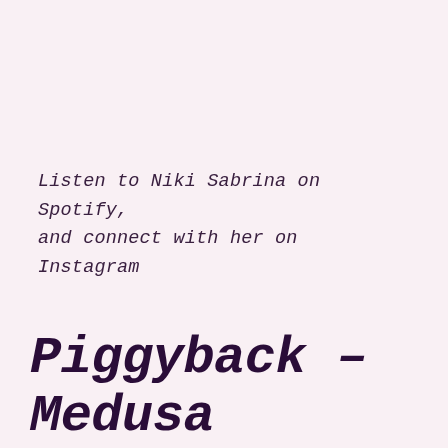Listen to Niki Sabrina on Spotify, and connect with her on Instagram
Piggyback – Medusa